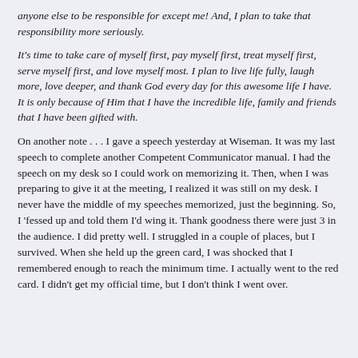anyone else to be responsible for except me! And, I plan to take that responsibility more seriously.
It's time to take care of myself first, pay myself first, treat myself first, serve myself first, and love myself most. I plan to live life fully, laugh more, love deeper, and thank God every day for this awesome life I have. It is only because of Him that I have the incredible life, family and friends that I have been gifted with.
On another note . . . I gave a speech yesterday at Wiseman. It was my last speech to complete another Competent Communicator manual. I had the speech on my desk so I could work on memorizing it. Then, when I was preparing to give it at the meeting, I realized it was still on my desk. I never have the middle of my speeches memorized, just the beginning. So, I 'fessed up and told them I'd wing it. Thank goodness there were just 3 in the audience. I did pretty well. I struggled in a couple of places, but I survived. When she held up the green card, I was shocked that I remembered enough to reach the minimum time. I actually went to the red card. I didn't get my official time, but I don't think I went over.